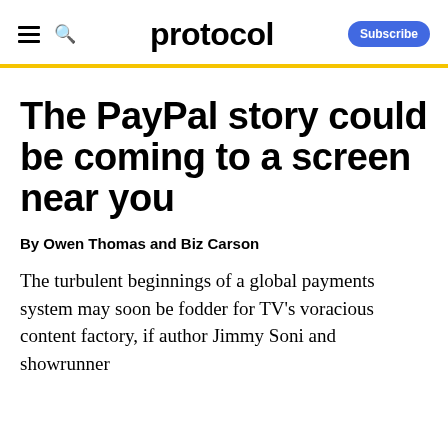protocol  Subscribe
The PayPal story could be coming to a screen near you
By Owen Thomas and Biz Carson
The turbulent beginnings of a global payments system may soon be fodder for TV's voracious content factory, if author Jimmy Soni and showrunner